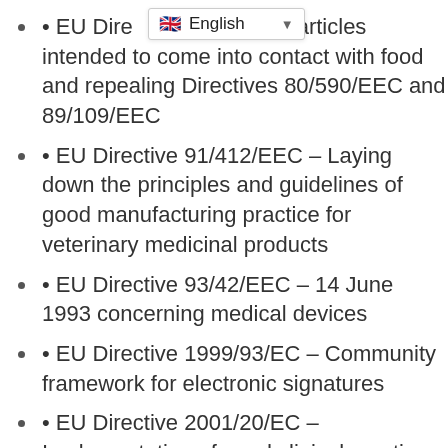• EU Directive [on] materials and articles intended to come into contact with food and repealing Directives 80/590/EEC and 89/109/EEC
• EU Directive 91/412/EEC – Laying down the principles and guidelines of good manufacturing practice for veterinary medicinal products
• EU Directive 93/42/EEC – 14 June 1993 concerning medical devices
• EU Directive 1999/93/EC – Community framework for electronic signatures
• EU Directive 2001/20/EC – Implementation of good clinical practice in the conduct of clinical